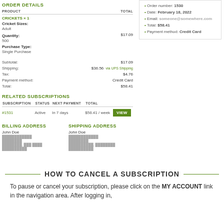ORDER DETAILS
| PRODUCT | TOTAL |
| --- | --- |
| CRICKETS × 1 |  |
| Cricket Sizes: Adult |  |
| Quantity: 500 | $17.09 |
| Purchase Type: Single Purchase |  |
| Subtotal: | $17.09 |
| Shipping: | $36.56 via UPS Shipping |
| Tax: | $4.76 |
| Payment method: | Credit Card |
| Total: | $58.41 |
| SUBSCRIPTION | STATUS | NEXT PAYMENT | TOTAL |
| --- | --- | --- | --- |
| #1531 | Active | In 7 days | $58.41 / week |
BILLING ADDRESS
SHIPPING ADDRESS
John Doe
John Doe
| Order number: | 1530 |
| Date: | February 18, 2022 |
| Email: | someone@somewhere.com |
| Total: | $58.41 |
| Payment method: | Credit Card |
HOW TO CANCEL A SUBSCRIPTION
To pause or cancel your subscription, please click on the MY ACCOUNT link in the navigation area. After logging in,